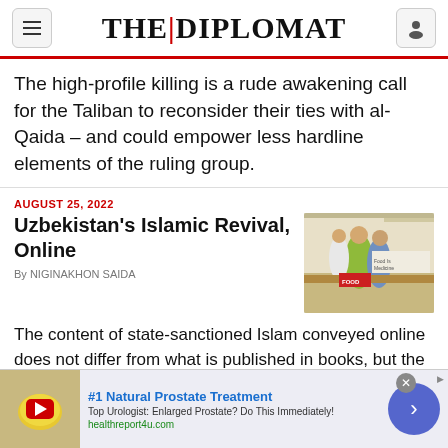THE DIPLOMAT
The high-profile killing is a rude awakening call for the Taliban to reconsider their ties with al-Qaida – and could empower less hardline elements of the ruling group.
AUGUST 25, 2022
Uzbekistan's Islamic Revival, Online
By NIGINAKHON SAIDA
[Figure (photo): Photo of people at a food counter, with a 'Food is Medicine' sign visible]
The content of state-sanctioned Islam conveyed online does not differ from what is published in books, but the delivery makes a difference.
#1 Natural Prostate Treatment
Top Urologist: Enlarged Prostate? Do This Immediately!
healthreport4u.com